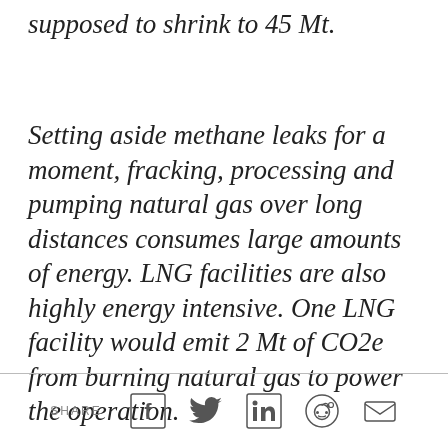supposed to shrink to 45 Mt.
Setting aside methane leaks for a moment, fracking, processing and pumping natural gas over long distances consumes large amounts of energy. LNG facilities are also highly energy intensive. One LNG facility would emit 2 Mt of CO2e from burning natural gas to power the operation.
SHARE [Facebook] [Twitter] [LinkedIn] [Reddit] [Email]